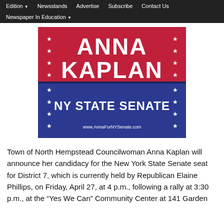Edition | Newsstands | Advertise | Subscribe | Contact Us | Newspaper In Education
[Figure (illustration): Anna Kaplan NY State Senate campaign sign. Red top half with white bold text 'ANNA KAPLAN' and white stars on sides. Blue bottom half with white bold text 'NY STATE SENATE', white stars on sides, and URL www.AnnaForNYSenate.com]
Town of North Hempstead Councilwoman Anna Kaplan will announce her candidacy for the New York State Senate seat for District 7, which is currently held by Republican Elaine Phillips, on Friday, April 27, at 4 p.m., following a rally at 3:30 p.m., at the “Yes We Can” Community Center at 141 Garden